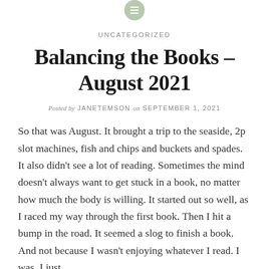[Figure (logo): Small circular green/sage icon with three horizontal white lines (menu/list icon)]
UNCATEGORIZED
Balancing the Books – August 2021
Posted by JANETEMSON on SEPTEMBER 1, 2021
So that was August. It brought a trip to the seaside, 2p slot machines, fish and chips and buckets and spades. It also didn't see a lot of reading. Sometimes the mind doesn't always want to get stuck in a book, no matter how much the body is willing. It started out so well, as I raced my way through the first book. Then I hit a bump in the road. It seemed a slog to finish a book. And not because I wasn't enjoying whatever I read. I was. I just